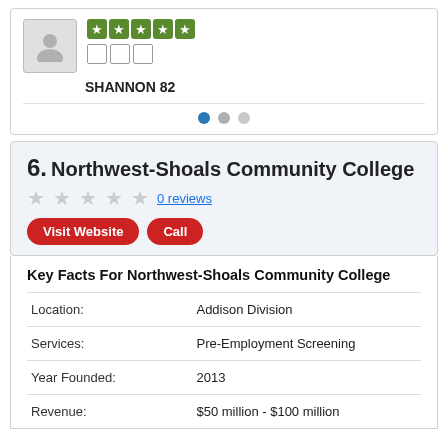[Figure (other): User avatar placeholder with gray background and person silhouette icon]
[Figure (other): Five green star rating boxes]
□□□
SHANNON 82
[Figure (other): Pagination dots: one blue active dot and two gray inactive dots]
6. Northwest-Shoals Community College
[Figure (other): Five gray empty stars rating with 0 reviews link]
0 reviews
Visit Website  Call
Key Facts For Northwest-Shoals Community College
|  |  |
| --- | --- |
| Location: | Addison Division |
| Services: | Pre-Employment Screening |
| Year Founded: | 2013 |
| Revenue: | $50 million - $100 million |